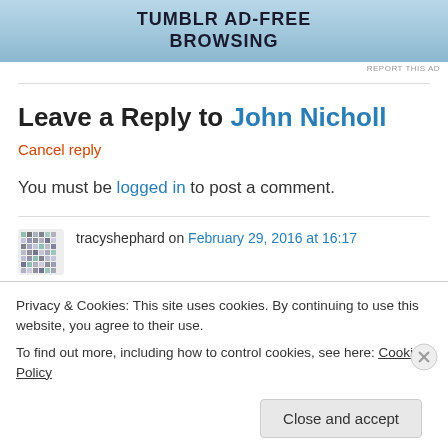[Figure (other): Tumblr ad-free browsing advertisement banner]
REPORT THIS AD
Leave a Reply to John Nicholl
Cancel reply
You must be logged in to post a comment.
tracyshephard on February 29, 2016 at 16:17
Privacy & Cookies: This site uses cookies. By continuing to use this website, you agree to their use.
To find out more, including how to control cookies, see here: Cookie Policy
Close and accept